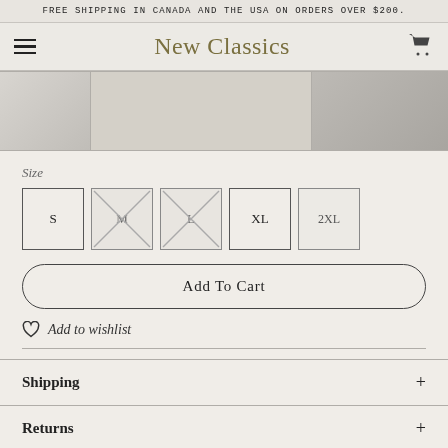FREE SHIPPING IN CANADA AND THE USA ON ORDERS OVER $200.
New Classics
[Figure (screenshot): Product image gallery strip with three thumbnail images side by side]
Size
S  M  L  XL  2XL (size selector buttons, M and L crossed out as unavailable)
Add To Cart
Add to wishlist
Shipping
Returns
Size Chart